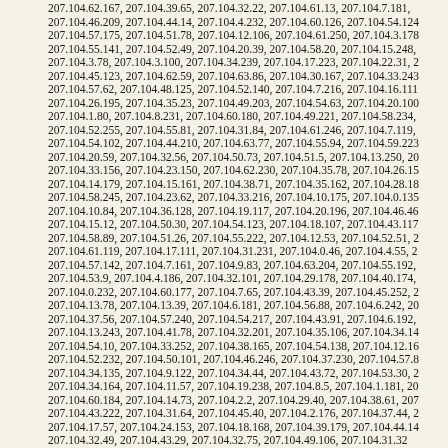207.104.62.167, 207.104.39.65, 207.104.32.22, 207.104.61.13, 207.104.7.181, 207.104.46.209, 207.104.44.14, 207.104.4.232, 207.104.60.126, 207.104.54.124, 207.104.57.175, 207.104.51.78, 207.104.12.106, 207.104.61.250, 207.104.3.178, 207.104.55.141, 207.104.52.49, 207.104.20.39, 207.104.58.20, 207.104.15.248, 207.104.3.78, 207.104.3.100, 207.104.34.239, 207.104.17.223, 207.104.22.31, 207.104.45.123, 207.104.62.59, 207.104.63.86, 207.104.30.167, 207.104.33.243, 207.104.57.62, 207.104.48.125, 207.104.52.140, 207.104.7.216, 207.104.16.111, 207.104.26.195, 207.104.35.23, 207.104.49.203, 207.104.54.63, 207.104.20.100, 207.104.1.80, 207.104.8.231, 207.104.60.180, 207.104.49.221, 207.104.58.234, 207.104.52.255, 207.104.55.81, 207.104.31.84, 207.104.61.246, 207.104.7.119, 207.104.54.102, 207.104.44.210, 207.104.63.77, 207.104.55.94, 207.104.59.223, 207.104.20.59, 207.104.32.56, 207.104.50.73, 207.104.51.5, 207.104.13.250, 207.104.33.156, 207.104.23.150, 207.104.62.230, 207.104.35.78, 207.104.26.15, 207.104.14.179, 207.104.15.161, 207.104.38.71, 207.104.35.162, 207.104.28.18, 207.104.58.245, 207.104.23.62, 207.104.33.216, 207.104.10.175, 207.104.0.135, 207.104.10.84, 207.104.36.128, 207.104.19.117, 207.104.20.196, 207.104.46.46, 207.104.15.12, 207.104.50.30, 207.104.54.123, 207.104.18.107, 207.104.43.117, 207.104.58.89, 207.104.51.26, 207.104.55.222, 207.104.12.53, 207.104.52.51, 207.104.61.119, 207.104.17.111, 207.104.31.231, 207.104.0.46, 207.104.4.55, 207.104.57.142, 207.104.7.161, 207.104.9.83, 207.104.63.204, 207.104.55.192, 207.104.53.9, 207.104.4.186, 207.104.32.101, 207.104.29.178, 207.104.40.174, 207.104.0.232, 207.104.60.177, 207.104.7.65, 207.104.43.39, 207.104.45.252, 207.104.13.78, 207.104.13.39, 207.104.6.181, 207.104.56.88, 207.104.6.242, 207.104.37.56, 207.104.57.240, 207.104.54.217, 207.104.43.91, 207.104.6.192, 207.104.13.243, 207.104.41.78, 207.104.32.201, 207.104.35.106, 207.104.34.14, 207.104.54.10, 207.104.33.252, 207.104.38.165, 207.104.54.138, 207.104.12.16, 207.104.52.232, 207.104.50.101, 207.104.46.246, 207.104.37.230, 207.104.57.8, 207.104.34.135, 207.104.9.122, 207.104.34.44, 207.104.43.72, 207.104.53.30, 207.104.34.164, 207.104.11.57, 207.104.19.238, 207.104.8.5, 207.104.1.181, 207.104.60.184, 207.104.14.73, 207.104.2.2, 207.104.29.40, 207.104.38.61, 207.104.43.222, 207.104.31.64, 207.104.45.40, 207.104.2.176, 207.104.37.44, 207.104.17.57, 207.104.24.153, 207.104.18.168, 207.104.39.179, 207.104.44.14, 207.104.32.49, 207.104.43.29, 207.104.32.75, 207.104.49.106, 207.104.31.32